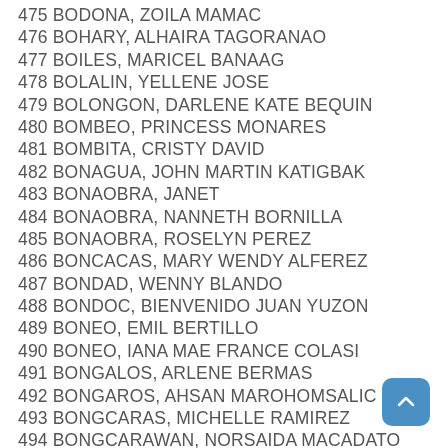475 BODONA, ZOILA MAMAC
476 BOHARY, ALHAIRA TAGORANAO
477 BOILES, MARICEL BANAAG
478 BOLALIN, YELLENE JOSE
479 BOLONGON, DARLENE KATE BEQUIN
480 BOMBEO, PRINCESS MONARES
481 BOMBITA, CRISTY DAVID
482 BONAGUA, JOHN MARTIN KATIGBAK
483 BONAOBRA, JANET
484 BONAOBRA, NANNETH BORNILLA
485 BONAOBRA, ROSELYN PEREZ
486 BONCACAS, MARY WENDY ALFEREZ
487 BONDAD, WENNY BLANDO
488 BONDOC, BIENVENIDO JUAN YUZON
489 BONEO, EMIL BERTILLO
490 BONEO, IANA MAE FRANCE COLASI
491 BONGALOS, ARLENE BERMAS
492 BONGAROS, AHSAN MAROHOMSALIC
493 BONGCARAS, MICHELLE RAMIREZ
494 BONGCARAWAN, NORSAIDA MACADATO
495 BONGCO, MARIA VERONICA AQUINO